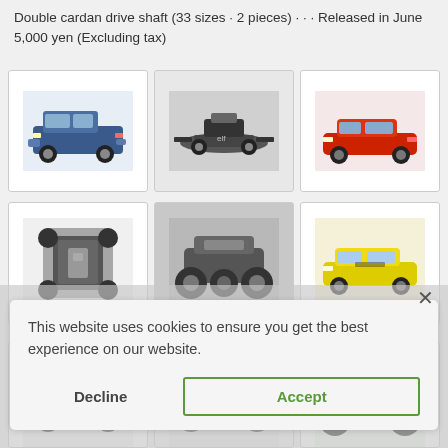Double cardan drive shaft (33 sizes · 2 pieces) · · · Released in June 5,000 yen (Excluding tax)
[Figure (photo): Blue SUV RC car model (top-left card)]
[Figure (photo): Black and white Formula 1 RC car model (top-center card)]
[Figure (photo): Red sports car RC model (top-right card)]
[Figure (photo): RC car chassis/frame from above (middle-left card)]
[Figure (photo): Black and white RC monster truck (middle-center card)]
[Figure (photo): Yellow sports car RC model - Ferrari F12 (middle-right card)]
This website uses cookies to ensure you get the best experience on our website.
Decline
Accept
[Figure (photo): RC car model bottom-left (partially visible)]
[Figure (photo): RC car model bottom-center (partially visible)]
[Figure (photo): Green RC buggy model bottom-right (partially visible)]